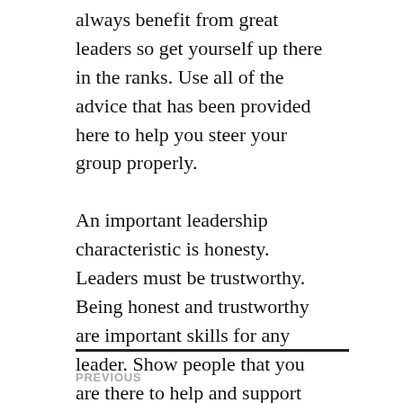always benefit from great leaders so get yourself up there in the ranks. Use all of the advice that has been provided here to help you steer your group properly.
An important leadership characteristic is honesty. Leaders must be trustworthy. Being honest and trustworthy are important skills for any leader. Show people that you are there to help and support them.
John Taylor / May 17, 2018 / Starting a Business / Starting a Business
PREVIOUS